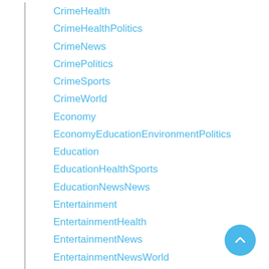CrimeHealth
CrimeHealthPolitics
CrimeNews
CrimePolitics
CrimeSports
CrimeWorld
Economy
EconomyEducationEnvironmentPolitics
Education
EducationHealthSports
EducationNewsNews
Entertainment
EntertainmentHealth
EntertainmentNews
EntertainmentNewsWorld
EntertainmentWorld
EnvironmentHealth
EnvironmentNewsNewsWeather
Features